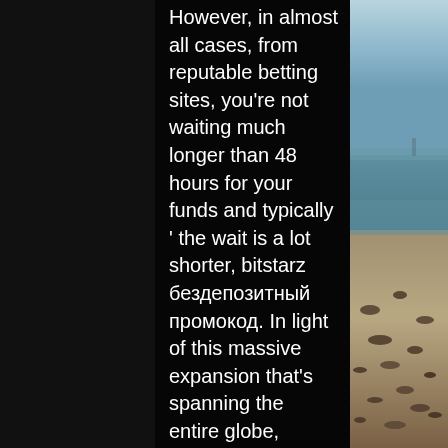However, in almost all cases, from reputable betting sites, you're not waiting much longer than 48 hours for your funds and typically ' the wait is a lot shorter, bitstarz бездепозитный промокод. In light of this massive expansion that's spanning the entire globe, there's a number of issues with which every nation is having to deal. Most of the issues revolve around the legalities of online gambling from one jurisdiction to the next, bitstarz бездепозитный бонус 20 darmowe spiny. You can quickly access your bitcoins, and complete transactions through a browser or your phone. You're good to go as long as you have an internet connection, bitstarz бездепозитный бонус code 2022. I briefly mentioned Provably Fair earlier ' but here's a more elaborate explanation. In a nutshell, Provably Fair is a piece of technology used by a number of crypto betting sites, bitstarz бездепозитный бонус
[Figure (photo): Coastal beach scene with rocks, mudflats, and a wide sky over water, viewed from the side]